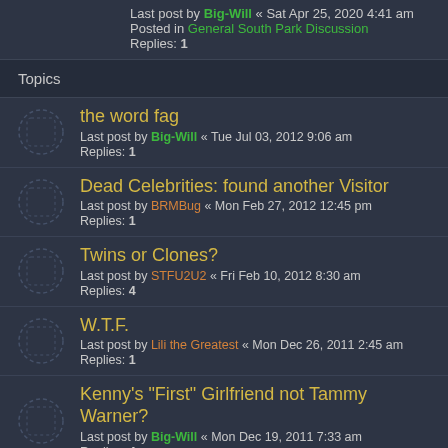Last post by Big-Will « Sat Apr 25, 2020 4:41 am
Posted in General South Park Discussion
Replies: 1
Topics
the word fag
Last post by Big-Will « Tue Jul 03, 2012 9:06 am
Replies: 1
Dead Celebrities: found another Visitor
Last post by BRMBug « Mon Feb 27, 2012 12:45 pm
Replies: 1
Twins or Clones?
Last post by STFU2U2 « Fri Feb 10, 2012 8:30 am
Replies: 4
W.T.F.
Last post by Lili the Greatest « Mon Dec 26, 2011 2:45 am
Replies: 1
Kenny's "First" Girlfriend not Tammy Warner?
Last post by Big-Will « Mon Dec 19, 2011 7:33 am
Replies: 4
Fat Beard
Last post by Kevin178 « Thu Nov 17, 2011 5:41 am
Replies: 5
1308: Dead Celebrities
Last post by pms1776 « Sat Nov 05, 2011 8:41 pm